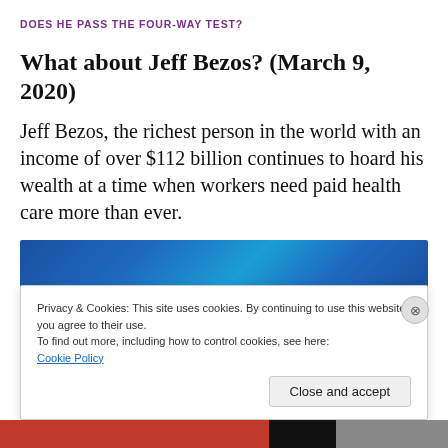DOES HE PASS THE FOUR-WAY TEST?
What about Jeff Bezos? (March 9, 2020)
Jeff Bezos, the richest person in the world with an income of over $112 billion continues to hoard his wealth at a time when workers need paid health care more than ever.
[Figure (photo): Blue gradient banner image, partial view of a header graphic]
Privacy & Cookies: This site uses cookies. By continuing to use this website, you agree to their use.
To find out more, including how to control cookies, see here: Cookie Policy